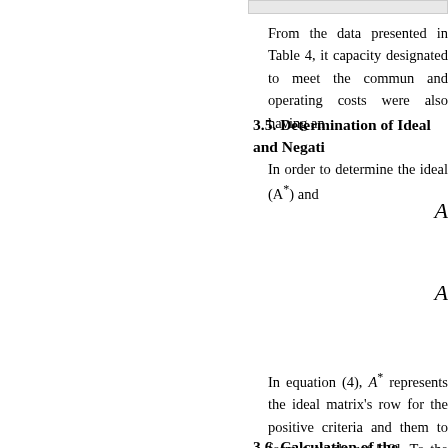From the data presented in Table 4, it capacity designated to meet the commun and operating costs were also having an
3.5. Determination of Ideal and Negati
In order to determine the ideal (A*) and
In equation (4), A* represents the ideal matrix's row for the positive criteria and them to form a single set [19]. To the co in each weighted normalized matrix's r negative criteria and combining them to
3.6. Calculation of the Relative Separa
The Euclidean distances of each energ